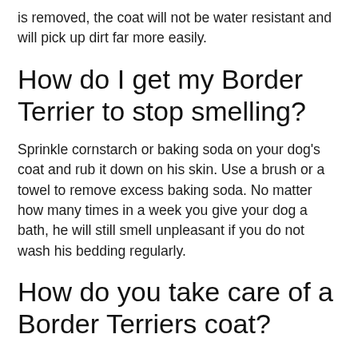is removed, the coat will not be water resistant and will pick up dirt far more easily.
How do I get my Border Terrier to stop smelling?
Sprinkle cornstarch or baking soda on your dog's coat and rub it down on his skin. Use a brush or a towel to remove excess baking soda. No matter how many times in a week you give your dog a bath, he will still smell unpleasant if you do not wash his bedding regularly.
How do you take care of a Border Terriers coat?